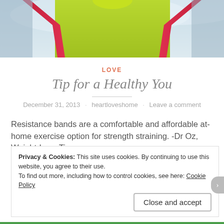[Figure (photo): Partial view of a person in a yellow shirt holding red resistance bands against a light blue/white background. Only the torso and bands are visible.]
LOVE
Tip for a Healthy You
December 31, 2013 · heartloveshome · Leave a comment
Resistance bands are a comfortable and affordable at-home exercise option for strength straining. -Dr Oz, Weight-Loss Tips
Privacy & Cookies: This site uses cookies. By continuing to use this website, you agree to their use. To find out more, including how to control cookies, see here: Cookie Policy
Close and accept